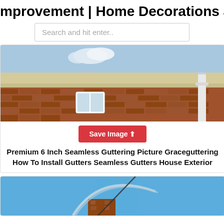mprovement | Home Decorations and
Search and hit enter..
[Figure (photo): Exterior photo of a brick house with white seamless gutters and downspout visible along the roofline and corner]
Save Image ⬆
Premium 6 Inch Seamless Guttering Picture Graceguttering How To Install Gutters Seamless Gutters House Exterior
[Figure (photo): Blue sky background with what appears to be a chimney or rooftop structure partially visible at the bottom of the image]